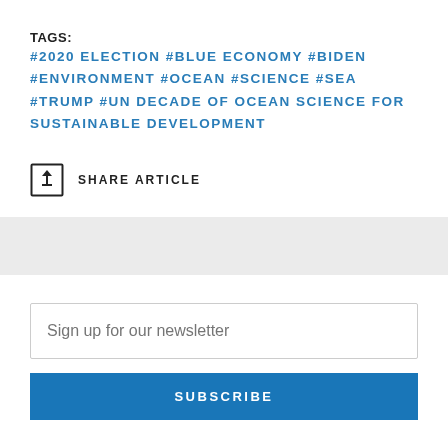TAGS:
#2020 ELECTION #BLUE ECONOMY #BIDEN #ENVIRONMENT #OCEAN #SCIENCE #SEA #TRUMP #UN DECADE OF OCEAN SCIENCE FOR SUSTAINABLE DEVELOPMENT
SHARE ARTICLE
Sign up for our newsletter
SUBSCRIBE